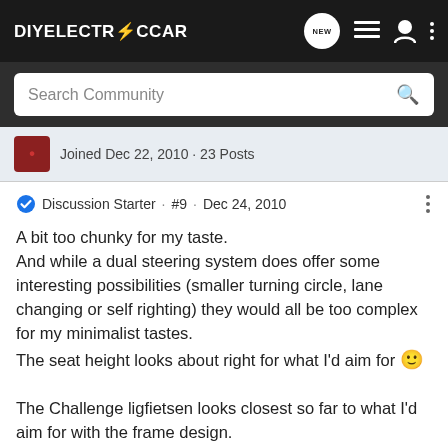DIYELECTRiCCAR
Search Community
Joined Dec 22, 2010 · 23 Posts
Discussion Starter · #9 · Dec 24, 2010
A bit too chunky for my taste.
And while a dual steering system does offer some interesting possibilities (smaller turning circle, lane changing or self righting) they would all be too complex for my minimalist tastes.
The seat height looks about right for what I'd aim for 🙂
The Challenge ligfietsen looks closest so far to what I'd aim for with the frame design.